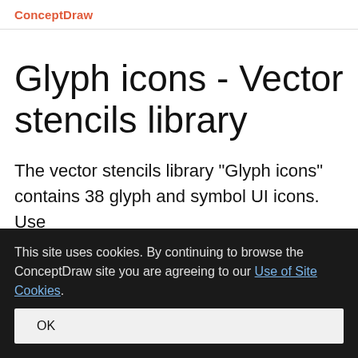ConceptDraw
Glyph icons - Vector stencils library
The vector stencils library "Glyph icons" contains 38 glyph and symbol UI icons. Use this glyph UI icon set to design graphic user
This site uses cookies. By continuing to browse the ConceptDraw site you are agreeing to our Use of Site Cookies. OK